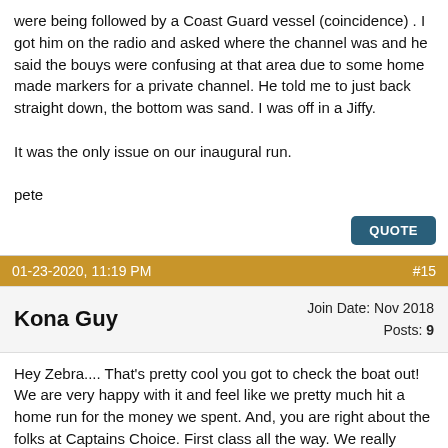were being followed by a Coast Guard vessel (coincidence) . I got him on the radio and asked where the channel was and he said the bouys were confusing at that area due to some home made markers for a private channel. He told me to just back straight down, the bottom was sand. I was off in a Jiffy.

It was the only issue on our inaugural run.

pete
QUOTE
01-23-2020, 11:19 PM   #15
Kona Guy   Join Date: Nov 2018  Posts: 9
Hey Zebra.... That's pretty cool you got to check the boat out! We are very happy with it and feel like we pretty much hit a home run for the money we spent. And, you are right about the folks at Captains Choice. First class all the way. We really started figuring out how small the boating world is when found out the owner attends a riverboat... Also, one of th...
[Figure (infographic): CVS Pharmacy advertisement banner with logo, play button icon, text 'Beauty & Wellness Deals', and a blue navigation arrow icon on the right.]